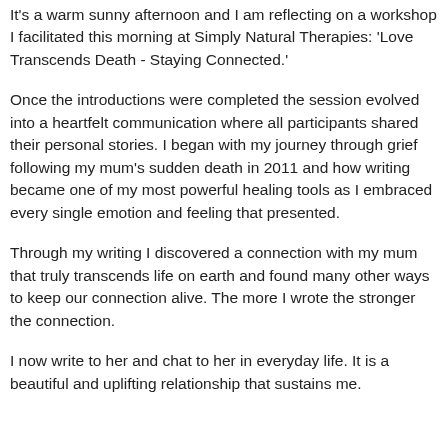It's a warm sunny afternoon and I am reflecting on a workshop I facilitated this morning at Simply Natural Therapies: 'Love Transcends Death - Staying Connected.'
Once the introductions were completed the session evolved into a heartfelt communication where all participants shared their personal stories. I began with my journey through grief following my mum's sudden death in 2011 and how writing became one of my most powerful healing tools as I embraced every single emotion and feeling that presented.
Through my writing I discovered a connection with my mum that truly transcends life on earth and found many other ways to keep our connection alive. The more I wrote the stronger the connection.
I now write to her and chat to her in everyday life. It is a beautiful and uplifting relationship that sustains me.